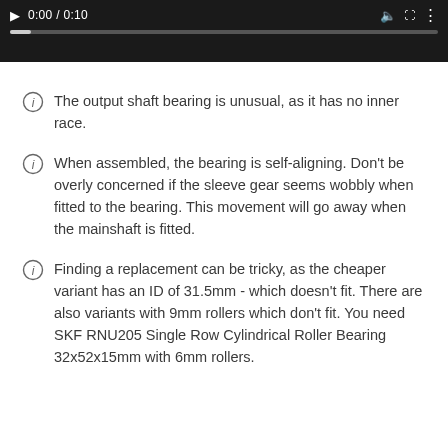[Figure (screenshot): Video player bar showing time 0:00 / 0:10 with play button, progress bar, volume, fullscreen and menu icons on dark background]
The output shaft bearing is unusual, as it has no inner race.
When assembled, the bearing is self-aligning. Don't be overly concerned if the sleeve gear seems wobbly when fitted to the bearing. This movement will go away when the mainshaft is fitted.
Finding a replacement can be tricky, as the cheaper variant has an ID of 31.5mm - which doesn't fit. There are also variants with 9mm rollers which don't fit. You need SKF RNU205 Single Row Cylindrical Roller Bearing 32x52x15mm with 6mm rollers.